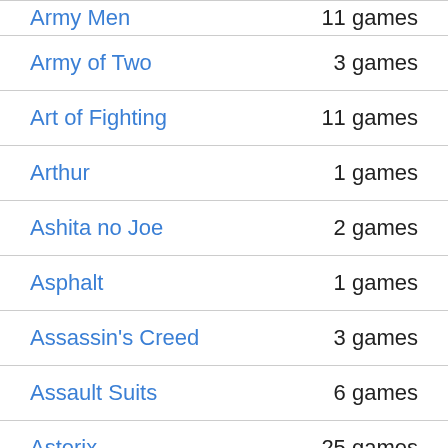| Series | Count |
| --- | --- |
| Army Men | 11 games |
| Army of Two | 3 games |
| Art of Fighting | 11 games |
| Arthur | 1 games |
| Ashita no Joe | 2 games |
| Asphalt | 1 games |
| Assassin's Creed | 3 games |
| Assault Suits | 6 games |
| Asterix | 25 games |
| Asteroids | 6 games |